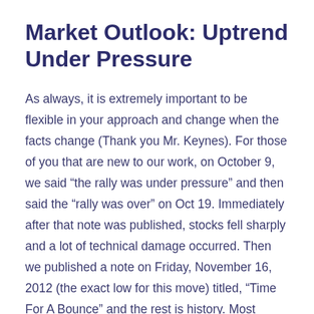Market Outlook: Uptrend Under Pressure
As always, it is extremely important to be flexible in your approach and change when the facts change (Thank you Mr. Keynes). For those of you that are new to our work, on October 9, we said “the rally was under pressure” and then said the “rally was over” on Oct 19. Immediately after that note was published, stocks fell sharply and a lot of technical damage occurred. Then we published a note on Friday, November 16, 2012 (the exact low for this move) titled, “Time For A Bounce” and the rest is history. Most recently, on Wednesday, February 20, 2013 we sent out a note saying, “Time For A